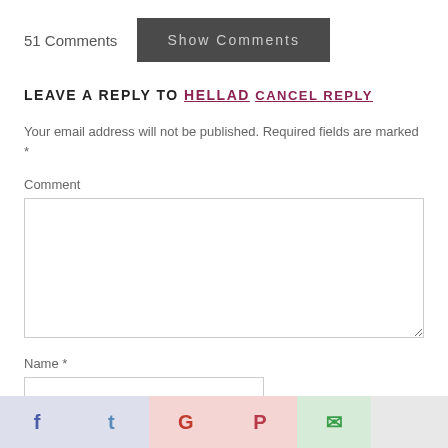51 Comments
Show Comments
LEAVE A REPLY TO HELLAD CANCEL REPLY
Your email address will not be published. Required fields are marked *
Comment
Name *
[Figure (other): Social sharing bar with icons for Facebook, Twitter, Google+, Pinterest, WhatsApp, and email]